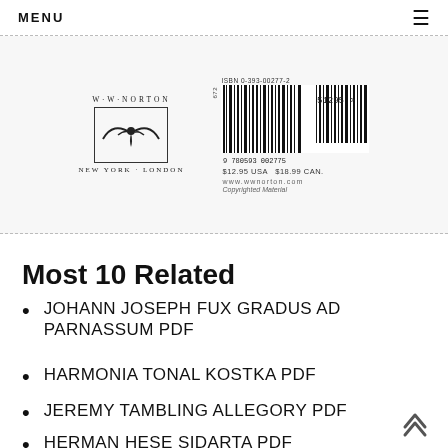MENU ≡
[Figure (illustration): W.W. Norton publisher logo with bird in a box, 'NEW YORK · LONDON' below, alongside a barcode with ISBN 0-393-00277-2, price $12.95 USA $18.99 CAN, www.wwnorton.com, Copyrighted Material]
Most 10 Related
JOHANN JOSEPH FUX GRADUS AD PARNASSUM PDF
HARMONIA TONAL KOSTKA PDF
JEREMY TAMBLING ALLEGORY PDF
HERMAN HESE SIDARTA PDF